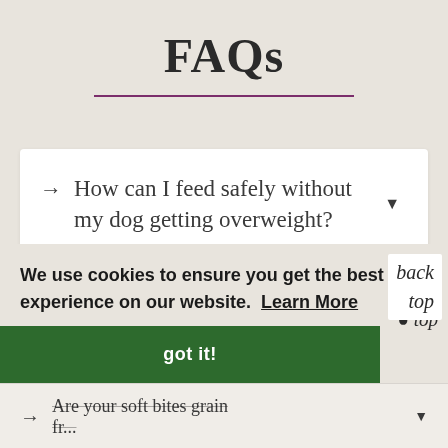FAQs
How can I feed safely without my dog getting overweight?
We use cookies to ensure you get the best experience on our website. Learn More
got it!
back to top
Are your soft bites grain fr...